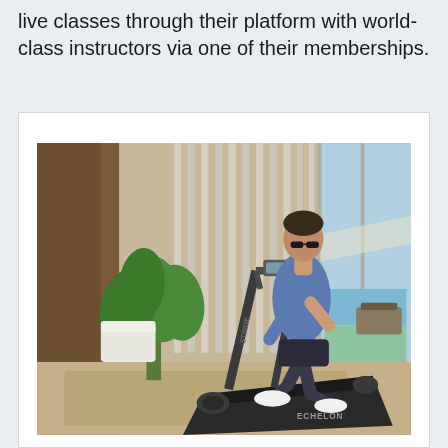live classes through their platform with world-class instructors via one of their memberships.
[Figure (photo): A man wearing a blue t-shirt, dark shorts, and white sneakers runs on an Echelon Stride treadmill (labeled 'STRIDE' on the side and 'ECHELON' on the base) inside a bright, modern living room. A large tropical plant is visible to the left, and floor-to-ceiling glass sliding doors open to an outdoor pool area in the background. Curtains hang behind the treadmill.]